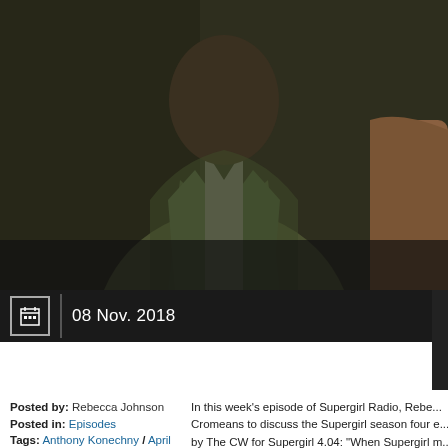[Figure (photo): Hero image showing a person wearing a dark green blazer jacket over a grey t-shirt, photographed from chest up against a dark background. Another person partially visible on the right.]
08 Nov. 2018
Supergirl Radio Season 4 – Episode 4: Ahimsa
Posted by: Rebecca Johnson
Posted in: Episodes
Tags: Anthony Konechny / April Parker Jones / Armen V. Kevorkian / Bruce Boxleitner / Chyler Leigh / David Ajala / David Harewood / DCTV / Donna Cromeans / Eric Carrasco / Jace Kardes / Jesse Rath /
In this week's episode of Supergirl Radio, Rebecca sits down with Donna Cromeans to discuss the Supergirl season four episode presented by The CW for Supergirl 4.04: "When Supergirl must team up. Meanwhile, J'onn questions his decision into Manchester Black, he realizes there […]"
[Figure (screenshot): Audio player with play button, 00:00 timestamp, and progress bar on dark background]
Podcast: Play in new window | Download
Subscribe: Apple Podcasts | RSS